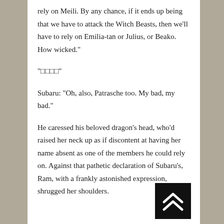rely on Meili. By any chance, if it ends up being that we have to attack the Witch Beasts, then we'll have to rely on Emilia-tan or Julius, or Beako. How wicked."
“□□□□”
Subaru: “Oh, also, Patrasche too. My bad, my bad.”
He caressed his beloved dragon's head, who'd raised her neck up as if discontent at having her name absent as one of the members he could rely on. Against that pathetic declaration of Subaru's, Ram, with a frankly astonished expression, shrugged her shoulders.